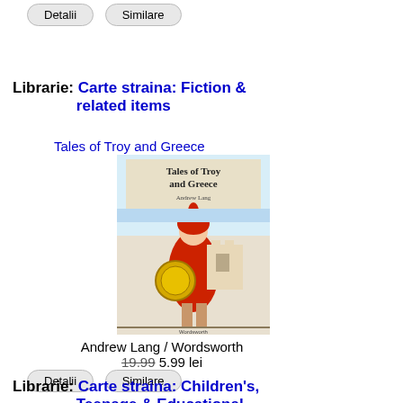Detalii   Similare
Librarie: Carte straina: Fiction & related items
Tales of Troy and Greece
[Figure (photo): Book cover of 'Tales of Troy and Greece' showing a warrior in red armor holding a golden shield]
Andrew Lang / Wordsworth
19.99 5.99 lei
Detalii   Similare
Librarie: Carte straina: Children's, Teenage & Educational